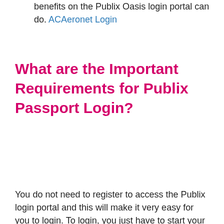benefits on the Publix Oasis login portal can do. ACAeronet Login
What are the Important Requirements for Publix Passport Login?
You do not need to register to access the Publix login portal and this will make it very easy for you to login. To login, you just have to start your browser